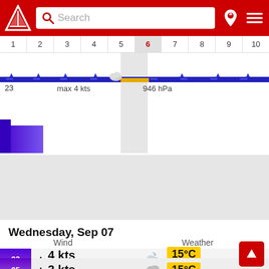[Figure (screenshot): App header with red background, logo (triangular arrow), search box with 'Search' placeholder, location pin icon, and hamburger menu icon]
[Figure (continuous-plot): Horizontal timeline chart showing days 1-10 with day 6 highlighted in grey. Blue pressure/wind line across the chart. Yellow bar at day 6. Cloud icon near day 5. Labels: '23', 'max 4 kts', '946 hPa'. Blue gradient block at lower left.]
[Figure (other): Grey advertisement/blank area]
Wednesday, Sep 07
Wind   Weather
[Figure (infographic): Forecast row for time 02: purple gradient strip, upward arrow, '4 kts', 'max 4 kts', cloud/moon icon, yellow badge '15°C', '945 hPa']
[Figure (infographic): Forecast row for time 05 (partially visible): purple gradient strip, upward arrow, '3 kts', cloud icon, yellow badge '15°C']
[Figure (other): Red scroll-to-top button with upward arrow icon]